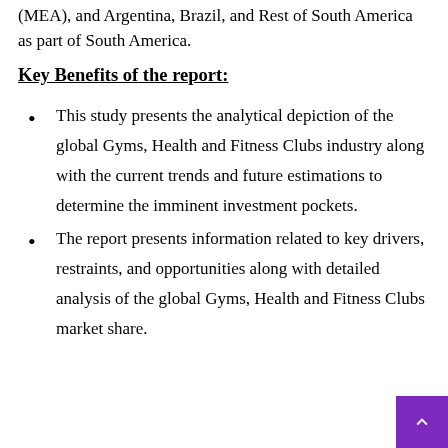(MEA), and Argentina, Brazil, and Rest of South America as part of South America.
Key Benefits of the report:
This study presents the analytical depiction of the global Gyms, Health and Fitness Clubs industry along with the current trends and future estimations to determine the imminent investment pockets.
The report presents information related to key drivers, restraints, and opportunities along with detailed analysis of the global Gyms, Health and Fitness Clubs market share.